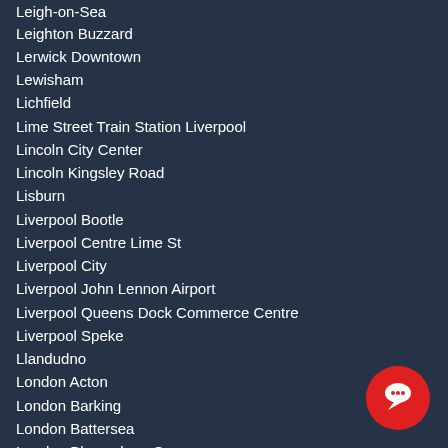Leigh-on-Sea
Leighton Buzzard
Lerwick Downtown
Lewisham
Lichfield
Lime Street Train Station Liverpool
Lincoln City Center
Lincoln Kingsley Road
Lisburn
Liverpool Bootle
Liverpool Centre Lime St
Liverpool City
Liverpool John Lennon Airport
Liverpool Queens Dock Commerce Centre
Liverpool Speke
Llandudno
London Acton
London Barking
London Battersea
London Bloomsbury Square
London Bow
London Chelsea
London City Airport
London Croydon
[Figure (illustration): Red circular chat bubble button in bottom right corner]